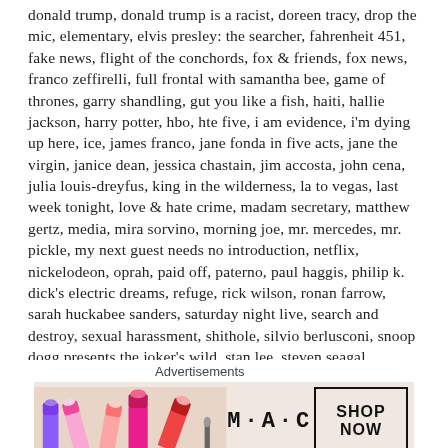donald trump, donald trump is a racist, doreen tracy, drop the mic, elementary, elvis presley: the searcher, fahrenheit 451, fake news, flight of the conchords, fox & friends, fox news, franco zeffirelli, full frontal with samantha bee, game of thrones, garry shandling, gut you like a fish, haiti, hallie jackson, harry potter, hbo, hte five, i am evidence, i'm dying up here, ice, james franco, jane fonda in five acts, jane the virgin, janice dean, jessica chastain, jim accosta, john cena, julia louis-dreyfus, king in the wilderness, la to vegas, last week tonight, love & hate crime, madam secretary, matthew gertz, media, mira sorvino, morning joe, mr. mercedes, mr. pickle, my next guest needs no introduction, netflix, nickelodeon, oprah, paid off, paterno, paul haggis, philip k. dick's electric dreams, refuge, rick wilson, ronan farrow, sarah huckabee sanders, saturday night live, search and destroy, sexual harassment, shithole, silvio berlusconi, snoop dogg presents the joker's wild, stan lee, steven seagal, streaming services, succession,
Advertisements
[Figure (photo): MAC Cosmetics advertisement banner showing colorful lipsticks (purple, pink, coral, red) on the left, MAC logo wordmark in the center, and a 'SHOP NOW' button in a black outlined box on the right.]